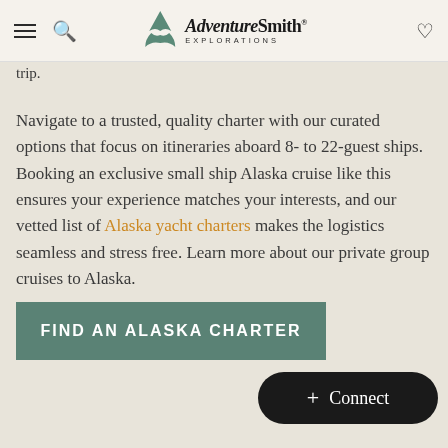AdventureSmith Explorations
trip.
Navigate to a trusted, quality charter with our curated options that focus on itineraries aboard 8- to 22-guest ships. Booking an exclusive small ship Alaska cruise like this ensures your experience matches your interests, and our vetted list of Alaska yacht charters makes the logistics seamless and stress free. Learn more about our private group cruises to Alaska.
FIND AN ALASKA CHARTER
+ Connect